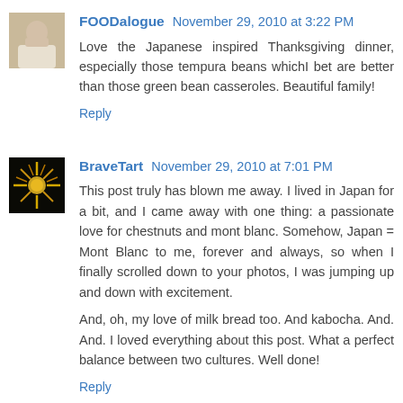FOODalogue  November 29, 2010 at 3:22 PM
Love the Japanese inspired Thanksgiving dinner, especially those tempura beans whichI bet are better than those green bean casseroles. Beautiful family!
Reply
BraveTart  November 29, 2010 at 7:01 PM
This post truly has blown me away. I lived in Japan for a bit, and I came away with one thing: a passionate love for chestnuts and mont blanc. Somehow, Japan = Mont Blanc to me, forever and always, so when I finally scrolled down to your photos, I was jumping up and down with excitement.
And, oh, my love of milk bread too. And kabocha. And. And. I loved everything about this post. What a perfect balance between two cultures. Well done!
Reply